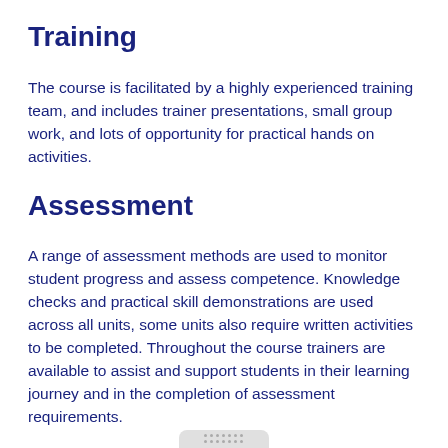Training
The course is facilitated by a highly experienced training team, and includes trainer presentations, small group work, and lots of opportunity for practical hands on activities.
Assessment
A range of assessment methods are used to monitor student progress and assess competence. Knowledge checks and practical skill demonstrations are used across all units, some units also require written activities to be completed. Throughout the course trainers are available to assist and support students in their learning journey and in the completion of assessment requirements.